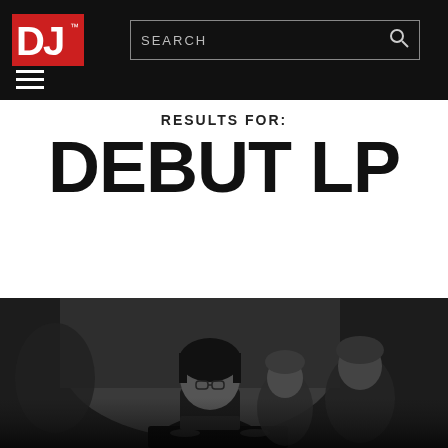DJ Mag — Search bar: SEARCH
RESULTS FOR:
DEBUT LP
[Figure (photo): Black and white photograph of a DJ performing at turntables in a dark venue, with two other people visible in the background. The DJ has a dark bob haircut and glasses.]